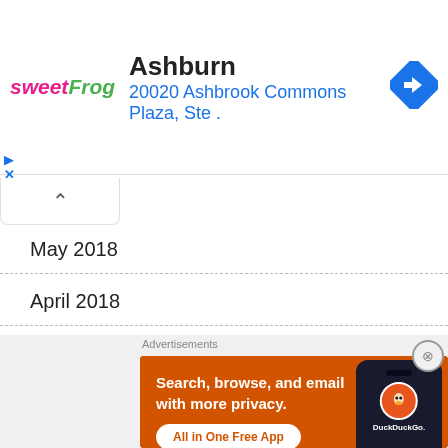[Figure (screenshot): SweetFrog logo and location ad banner showing Ashburn location at 20020 Ashbrook Commons Plaza, Ste. with navigation arrow icon]
May 2018
April 2018
March 2018
February 2018
October 2017
[Figure (screenshot): DuckDuckGo advertisement: Search, browse, and email with more privacy. All in One Free App. Shows DuckDuckGo logo on a phone against orange background.]